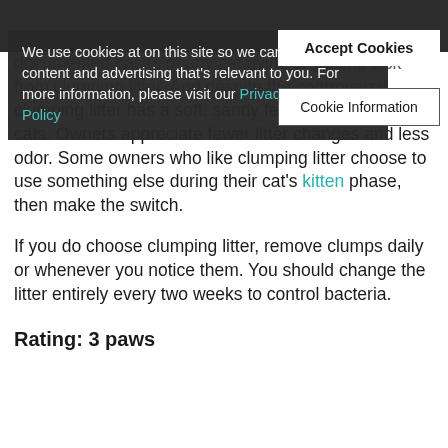[Figure (screenshot): Cookie consent overlay popup on a dark background header. Shows message about cookies and two buttons: 'Accept Cookies' and 'Cookie Information'. Includes a link to 'Privacy and Cookie Policy'.]
documented cases of any cat dying or getting sick from clumping litter. And despite the controversy, clumping litter has a soft, sandy feel that's attractive to cats. Owners appreciate fewer litter changes and less odor. Some owners who like clumping litter choose to use something else during their cat's kitten phase, then make the switch.
If you do choose clumping litter, remove clumps daily or whenever you notice them. You should change the litter entirely every two weeks to control bacteria.
Rating: 3 paws